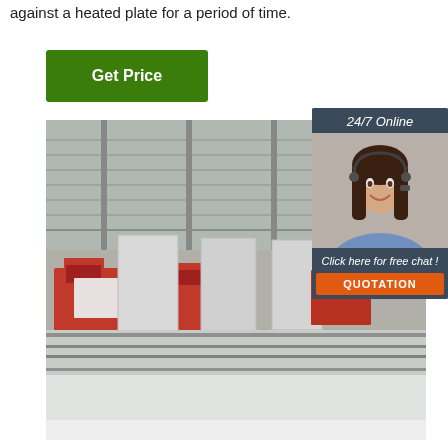against a heated plate for a period of time.
Get Price
[Figure (photo): Industrial factory floor with large red machines and steel rails under a corrugated metal roof]
[Figure (infographic): 24/7 Online chat widget with photo of woman wearing headset, 'Click here for free chat!' text and QUOTATION button]